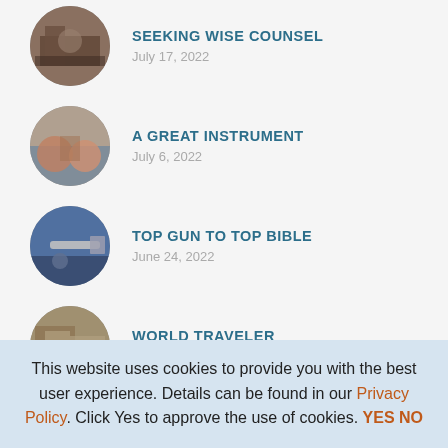SEEKING WISE COUNSEL
July 17, 2022
A GREAT INSTRUMENT
July 6, 2022
TOP GUN TO TOP BIBLE
June 24, 2022
WORLD TRAVELER
June 20, 2022
This website uses cookies to provide you with the best user experience. Details can be found in our Privacy Policy. Click Yes to approve the use of cookies. YES NO